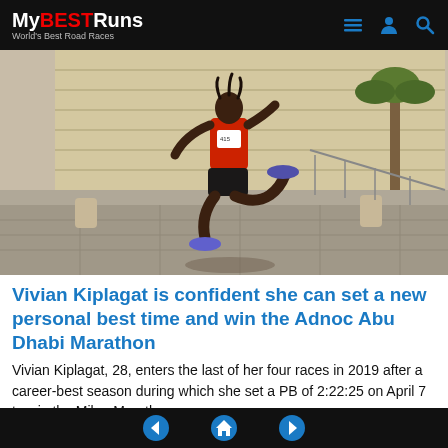MyBESTRuns — World's Best Road Races
[Figure (photo): A female runner in a red vest and dark shorts mid-stride on a road course, with stone steps and a palm tree in the background.]
Vivian Kiplagat is confident she can set a new personal best time and win the Adnoc Abu Dhabi Marathon
Vivian Kiplagat, 28, enters the last of her four races in 2019 after a career-best season during which she set a PB of 2:22:25 on April 7 to win the Milan Marathon
Navigation: back, home, forward